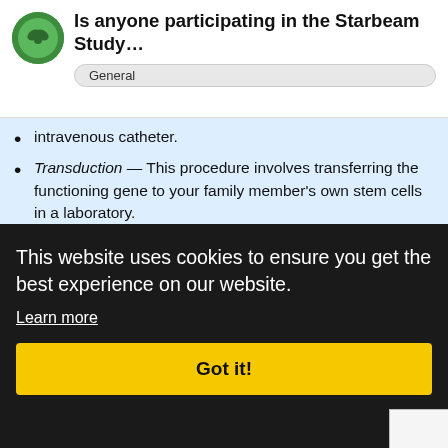Is anyone participating in the Starbeam Study… General
intravenous catheter.
Transduction — This procedure involves transferring the functioning gene to your family member's own stem cells in a laboratory.
Myeloablation — In this stage of the study, your family member will receive several days of chemotherapy to remove existing bone marrow stem cells to make room for the new ones, which contain the functioning gene.
This is intended to allow the modified stem cells to establish a home and multiply.
...the modified... your family member's body through an intravenous infusion.
Reinfusion — In this stage, your family member will be monitored closely for approximately 3 months. After he leaves the hospital, he will return for check-ups as the clinical team monitors his health and the outcome of treatment.
This website uses cookies to ensure you get the best experience on our website.
Learn more
Got it!